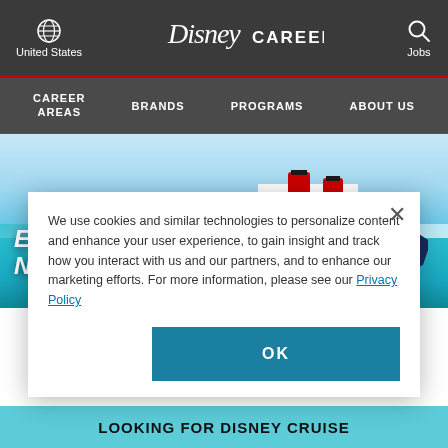Disney Careers — United States header with globe icon, Disney Careers logo, Jobs search icon
CAREER AREAS  BRANDS  PROGRAMS  ABOUT US
[Figure (screenshot): Hero banner image of Disney Cruise ship on turquoise water with text EMBARK ON YOUR CAREER NAVIGATE YOUR FUTURE]
EMBARK ON YOUR CAREER NAVIGATE YOUR FUTURE
We use cookies and similar technologies to personalize content and enhance your user experience, to gain insight and track how you interact with us and our partners, and to enhance our marketing efforts. For more information, please see our Privacy Policy
OK
LOOKING FOR DISNEY CRUISE